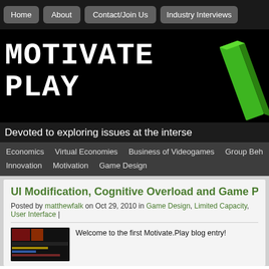Home | About | Contact/Join Us | Industry Interviews
[Figure (logo): Motivate Play logo with pixel-style text and green 3D slash graphic on black background]
Devoted to exploring issues at the interse...
Economics | Virtual Economies | Business of Videogames | Group Beha... | Innovation | Motivation | Game Design
UI Modification, Cognitive Overload and Game Pl...
Posted by matthewfalk on Oct 29, 2010 in Game Design, Limited Capacity, User Interface |
Welcome to the first Motivate.Play blog entry!